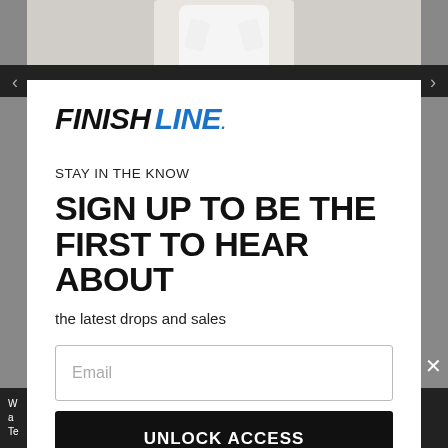[Figure (photo): Screenshot of a Finish Line website popup/modal overlay showing a newsletter sign-up form. Background shows a person in a white outfit. A dark navigation bar with left/right arrows is partially visible.]
FINISH LINE.
STAY IN THE KNOW
SIGN UP TO BE THE FIRST TO HEAR ABOUT
the latest drops and sales
Email
UNLOCK ACCESS